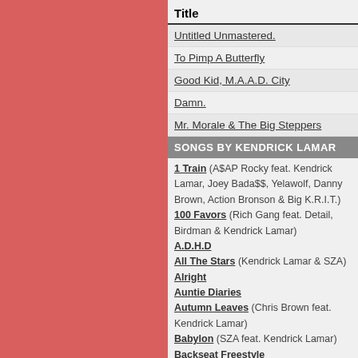Title
Untitled Unmastered.
To Pimp A Butterfly
Good Kid, M.A.A.D. City
Damn.
Mr. Morale & The Big Steppers
SONGS BY KENDRICK LAMAR
1 Train (A$AP Rocky feat. Kendrick Lamar, Joey Bada$$, Yelawolf, Danny Brown, Action Bronson & Big K.R.I.T.)
100 Favors (Rich Gang feat. Detail, Birdman & Kendrick Lamar)
A.D.H.D
All The Stars (Kendrick Lamar & SZA)
Alright
Auntie Diaries
Autumn Leaves (Chris Brown feat. Kendrick Lamar)
Babylon (SZA feat. Kendrick Lamar)
Backseat Freestyle
Backwards (Tame Impala & Kendrick Lamar)
Bad Blood (Taylor Swift feat. Kendrick Lamar)
Big Shot (Kendrick Lamar & Travis Scott)
Bitch, Don't Kill My Vibe
Bitch, Don't Kill My Vibe (International Remix) (Kendrick Lamar feat. Emeli Sandé)
Bitch, Don't Kill My Vibe (Remix) (Kendrick Lamar feat. Jay-Z)
Black Boy Fly
Black Panther
Blessed (Schoolboy Q feat. Kendrick Lamar)
Blood.
Blow My High (Members Only)
Chapter Six